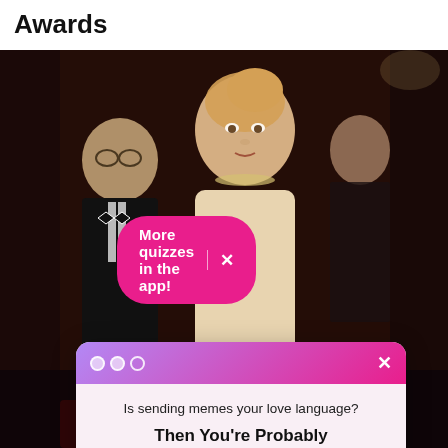Awards
[Figure (photo): A dark editorial photo showing a woman with blonde updo hair in the foreground, and a man in a tuxedo to her left, at what appears to be an awards or gala event. The image has a warm dark reddish-brown tone.]
More quizzes in the app!  ×
Is sending memes your love language?
Then You're Probably Chronically Online
Join Us 👇
[Email address input]
[Sign Me Up! button]
No Thanks